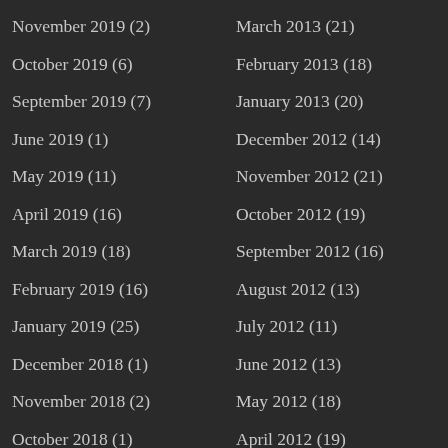November 2019 (2)
March 2013 (21)
October 2019 (6)
February 2013 (18)
September 2019 (7)
January 2013 (20)
June 2019 (1)
December 2012 (14)
May 2019 (11)
November 2012 (21)
April 2019 (16)
October 2012 (19)
March 2019 (18)
September 2012 (16)
February 2019 (16)
August 2012 (13)
January 2019 (25)
July 2012 (11)
December 2018 (1)
June 2012 (13)
November 2018 (2)
May 2012 (18)
October 2018 (1)
April 2012 (19)
August 2018 (1)
March 2012 (21)